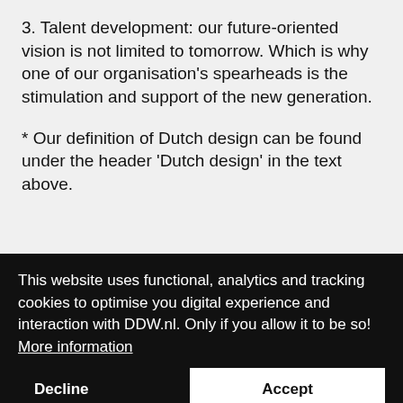3. Talent development: our future-oriented vision is not limited to tomorrow. Which is why one of our organisation's spearheads is the stimulation and support of the new generation.
* Our definition of Dutch design can be found under the header 'Dutch design' in the text above.
This website uses functional, analytics and tracking cookies to optimise you digital experience and interaction with DDW.nl. Only if you allow it to be so!  More information
Decline  Accept